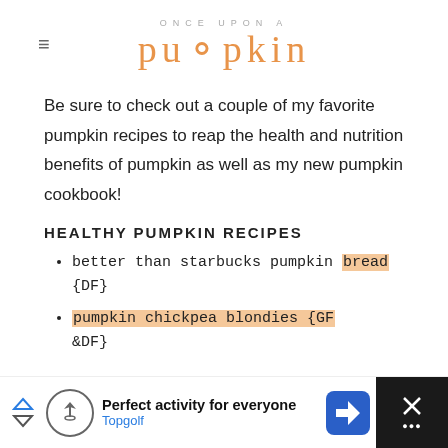ONCE UPON A pumpkin
Be sure to check out a couple of my favorite pumpkin recipes to reap the health and nutrition benefits of pumpkin as well as my new pumpkin cookbook!
HEALTHY PUMPKIN RECIPES
better than starbucks pumpkin bread {DF}
pumpkin chickpea blondies {GF &DF}